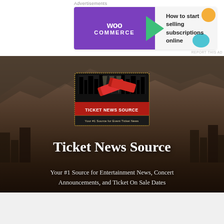Advertisements
[Figure (logo): WooCommerce advertisement banner — purple left panel with WooCommerce logo and green arrow, white right panel with text 'How to start selling subscriptions online' and decorative orange and teal circles]
REPORT THIS AD
[Figure (logo): Ticket News Source logo — ornate badge with city skyline silhouette, stage lights, two red tickets crossing diagonally, dotted border frame, text 'TICKET NEWS SOURCE' and tagline 'Your #1 Source for Event Ticket News']
Ticket News Source
Your #1 Source for Entertainment News, Concert Announcements, and Ticket On Sale Dates